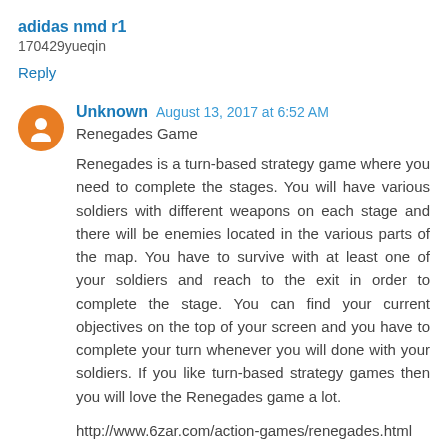adidas nmd r1
170429yueqin
Reply
Unknown August 13, 2017 at 6:52 AM
Renegades Game
Renegades is a turn-based strategy game where you need to complete the stages. You will have various soldiers with different weapons on each stage and there will be enemies located in the various parts of the map. You have to survive with at least one of your soldiers and reach to the exit in order to complete the stage. You can find your current objectives on the top of your screen and you have to complete your turn whenever you will done with your soldiers. If you like turn-based strategy games then you will love the Renegades game a lot.
http://www.6zar.com/action-games/renegades.html
Renegades Game